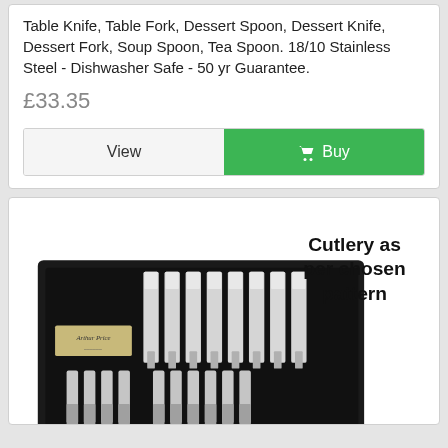Table Knife, Table Fork, Dessert Spoon, Dessert Knife, Dessert Fork, Soup Spoon, Tea Spoon. 18/10 Stainless Steel - Dishwasher Safe - 50 yr Guarantee.
£33.35
View
Buy
[Figure (photo): Photo of a cutlery set in a black presentation box (Arthur Price brand), showing multiple knives arranged in rows. Text overlay reads 'Cutlery as per chosen pattern'.]